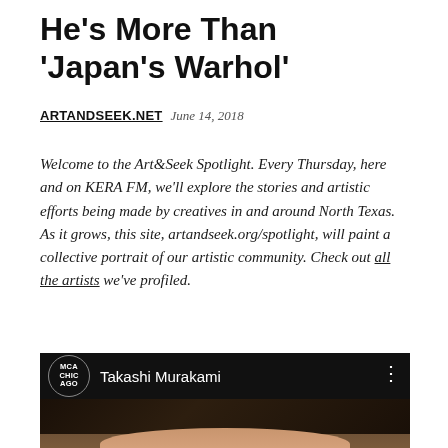He's More Than 'Japan's Warhol'
ARTANDSEEK.NET  June 14, 2018
Welcome to the Art&Seek Spotlight. Every Thursday, here and on KERA FM, we'll explore the stories and artistic efforts being made by creatives in and around North Texas. As it grows, this site, artandseek.org/spotlight, will paint a collective portrait of our artistic community. Check out all the artists we've profiled.
[Figure (screenshot): Video thumbnail from MCA Chicago YouTube channel showing Takashi Murakami. A black header bar shows the MCA Chicago logo (circular badge with text MCA CHIC AGO) and the title 'Takashi Murakami' with a three-dot menu icon. Below is a partial image showing the top of Takashi Murakami's head and upper forehead.]